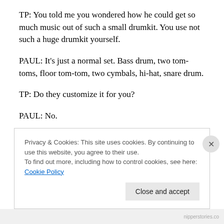TP: You told me you wondered how he could get so much music out of such a small drumkit. You use not such a huge drumkit yourself.
PAUL: It's just a normal set. Bass drum, two tom-toms, floor tom-tom, two cymbals, hi-hat, snare drum.
TP: Do they customize it for you?
PAUL: No.
TP: So you don't give Gretsch specifications?
Privacy & Cookies: This site uses cookies. By continuing to use this website, you agree to their use. To find out more, including how to control cookies, see here: Cookie Policy